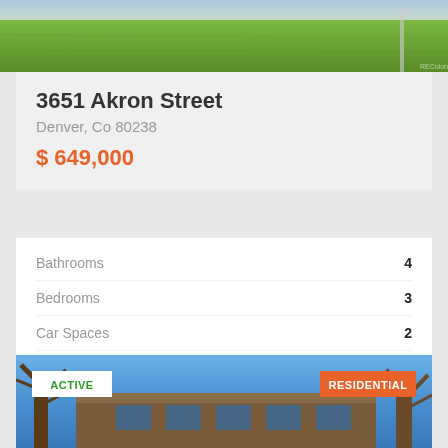[Figure (photo): Top portion of a residential property exterior showing green grass lawn]
3651 Akron Street
Denver, Co 80238
$ 649,000
| Feature | Value |
| --- | --- |
| Bathrooms | 4 |
| Bedrooms | 3 |
| Car Spaces | 2 |
| Sqft | 2165 Sqft |
| Acres | 0.05 |
[Figure (photo): Exterior photo of a residential building with blue sky, bare trees, and brick facade. Badges show ACTIVE (white/green) and RESIDENTIAL (orange).]